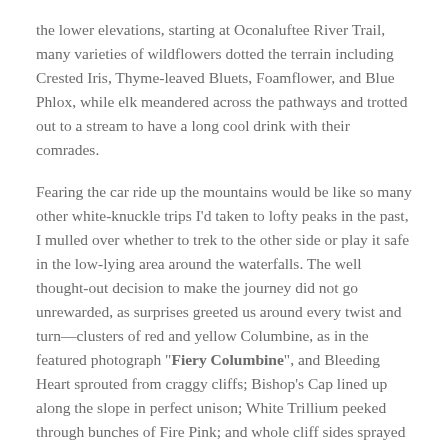the lower elevations, starting at Oconaluftee River Trail, many varieties of wildflowers dotted the terrain including Crested Iris, Thyme-leaved Bluets, Foamflower, and Blue Phlox, while elk meandered across the pathways and trotted out to a stream to have a long cool drink with their comrades.
Fearing the car ride up the mountains would be like so many other white-knuckle trips I'd taken to lofty peaks in the past, I mulled over whether to trek to the other side or play it safe in the low-lying area around the waterfalls. The well thought-out decision to make the journey did not go unrewarded, as surprises greeted us around every twist and turn—clusters of red and yellow Columbine, as in the featured photograph "Fiery Columbine", and Bleeding Heart sprouted from craggy cliffs; Bishop's Cap lined up along the slope in perfect unison; White Trillium peeked through bunches of Fire Pink; and whole cliff sides sprayed in purple looked like wildflower waterfalls.
A fellow seeker of flora and fauna that day boasted about the unique ecosystem of the park, a part of the Southern